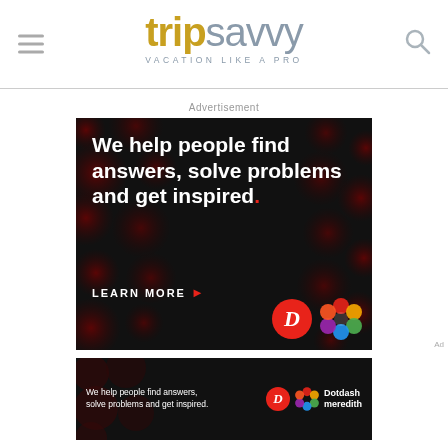tripsavvy — VACATION LIKE A PRO
Advertisement
[Figure (illustration): Dotdash Meredith advertisement on black background with dark red dot pattern. Text reads: 'We help people find answers, solve problems and get inspired.' with a red period. Below: 'LEARN MORE' with red arrow, Dotdash D logo and Meredith flower logo.]
[Figure (illustration): Smaller version of Dotdash Meredith advertisement at bottom: 'We help people find answers, solve problems and get inspired.' with D logo and Dotdash Meredith text.]